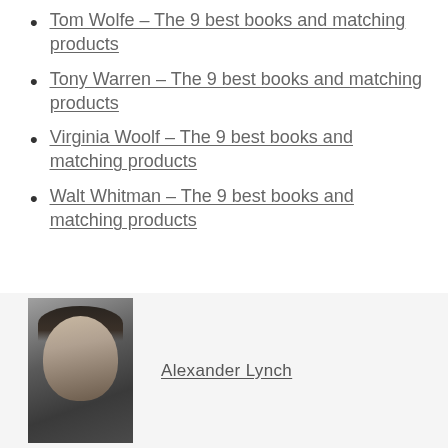Tom Wolfe – The 9 best books and matching products
Tony Warren – The 9 best books and matching products
Virginia Woolf – The 9 best books and matching products
Walt Whitman – The 9 best books and matching products
[Figure (photo): Headshot photo of a young man with dark hair, against a neutral background]
Alexander Lynch